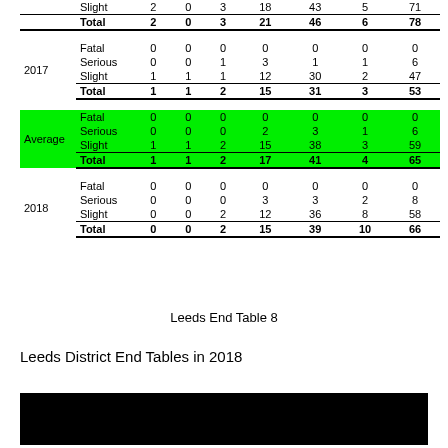| Year | Severity | col1 | col2 | col3 | col4 | col5 | col6 | Total |
| --- | --- | --- | --- | --- | --- | --- | --- | --- |
|  | Slight | 2 | 0 | 3 | 18 | 43 | 5 | 71 |
|  | Total | 2 | 0 | 3 | 21 | 46 | 6 | 78 |
| 2017 | Fatal | 0 | 0 | 0 | 0 | 0 | 0 | 0 |
| 2017 | Serious | 0 | 0 | 1 | 3 | 1 | 1 | 6 |
| 2017 | Slight | 1 | 1 | 1 | 12 | 30 | 2 | 47 |
| 2017 | Total | 1 | 1 | 2 | 15 | 31 | 3 | 53 |
| Average | Fatal | 0 | 0 | 0 | 0 | 0 | 0 | 0 |
| Average | Serious | 0 | 0 | 0 | 2 | 3 | 1 | 6 |
| Average | Slight | 1 | 1 | 2 | 15 | 38 | 3 | 59 |
| Average | Total | 1 | 1 | 2 | 17 | 41 | 4 | 65 |
| 2018 | Fatal | 0 | 0 | 0 | 0 | 0 | 0 | 0 |
| 2018 | Serious | 0 | 0 | 0 | 3 | 3 | 2 | 8 |
| 2018 | Slight | 0 | 0 | 2 | 12 | 36 | 8 | 58 |
| 2018 | Total | 0 | 0 | 2 | 15 | 39 | 10 | 66 |
Leeds End Table 8
Leeds District End Tables in 2018
[Figure (photo): Black bar/image at bottom of page]